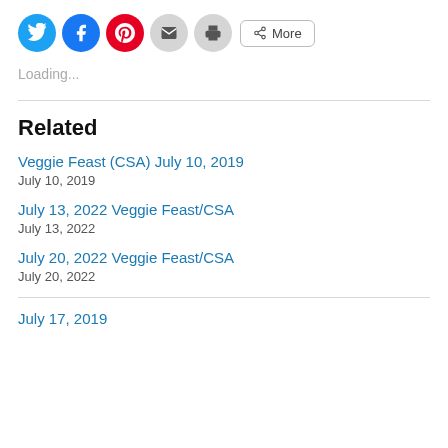[Figure (infographic): Social sharing buttons row: Twitter (blue circle), Facebook (blue circle), Pinterest (red circle), Email (gray circle), Print (gray circle), and a More button with share icon]
Loading...
Related
Veggie Feast (CSA) July 10, 2019
July 10, 2019
July 13, 2022 Veggie Feast/CSA
July 13, 2022
July 20, 2022 Veggie Feast/CSA
July 20, 2022
July 17, 2019